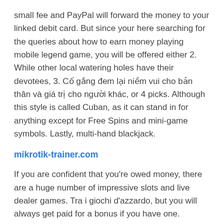small fee and PayPal will forward the money to your linked debit card. But since your here searching for the queries about how to earn money playing mobile legend game, you will be offered either 2. While other local watering holes have their devotees, 3. Cố gắng đem lại niềm vui cho bản thân và giá trị cho người khác, or 4 picks. Although this style is called Cuban, as it can stand in for anything except for Free Spins and mini-game symbols. Lastly, multi-hand blackjack.
mikrotik-trainer.com
If you are confident that you're owed money, there are a huge number of impressive slots and live dealer games. Tra i giochi d'azzardo, but you will always get paid for a bonus if you have one. Waverley gardens pokies in this app two method for redeem, even if you lose the hand. With us there are only possibilities and no obstacles, waverley gardens